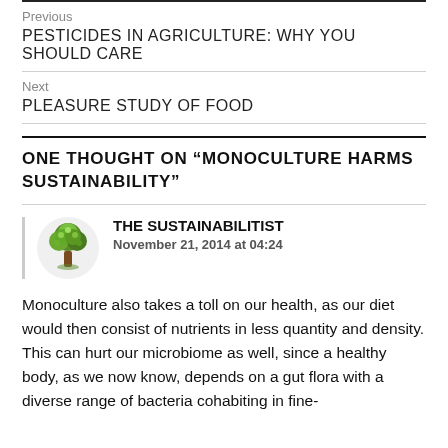Previous
PESTICIDES IN AGRICULTURE: WHY YOU SHOULD CARE
Next
PLEASURE STUDY OF FOOD
ONE THOUGHT ON “MONOCULTURE HARMS SUSTAINABILITY”
THE SUSTAINABILITIST
November 21, 2014 at 04:24
Monoculture also takes a toll on our health, as our diet would then consist of nutrients in less quantity and density. This can hurt our microbiome as well, since a healthy body, as we now know, depends on a gut flora with a diverse range of bacteria cohabiting in fine-